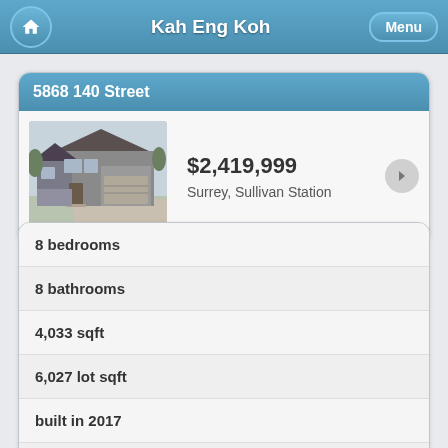Kah Eng Koh
5868 140 Street
[Figure (photo): Exterior photo of a modern two-storey house with stone facade and attached garage]
$2,419,999
Surrey, Sullivan Station
8 bedrooms
8 bathrooms
4,033 sqft
6,027 lot sqft
built in 2017
$6,218 taxes in 2021
House